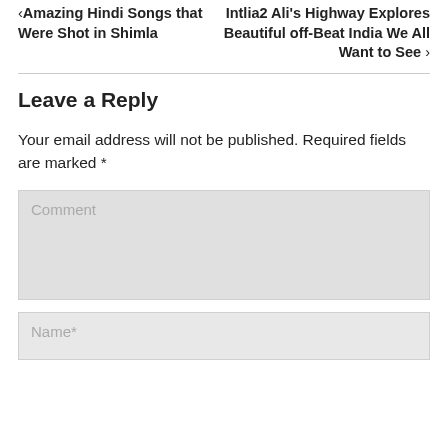Amazing Hindi Songs that Were Shot in Shimla
Intlia2 Ali's Highway Explores Beautiful off-Beat India We All Want to See
Leave a Reply
Your email address will not be published. Required fields are marked *
Comment
Name*